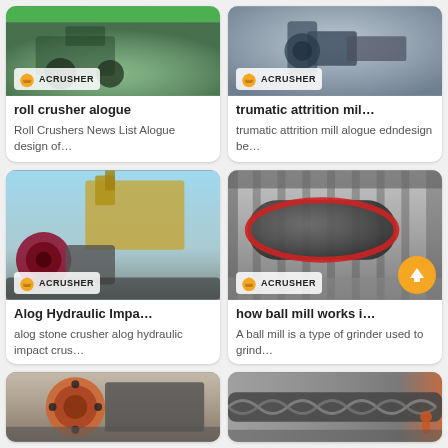[Figure (photo): Roll crusher machinery with green background and Acrusher logo]
roll crusher alogue
Roll Crushers News List Alogue design of…
[Figure (photo): Trumatic attrition mill machinery with Acrusher logo]
trumatic attrition mil…
trumatic attrition mill alogue edndesign be…
[Figure (photo): Hydraulic impact crusher with excavator and Acrusher logo]
Alog Hydraulic Impa…
alog stone crusher alog hydraulic impact crus…
[Figure (photo): Ball mill grinder in factory with Acrusher logo and up arrow button]
how ball mill works i…
A ball mill is a type of grinder used to grind…
[Figure (photo): Jaw crusher machinery in factory]
[Figure (photo): Spiral conveyor or screw conveyor machinery]